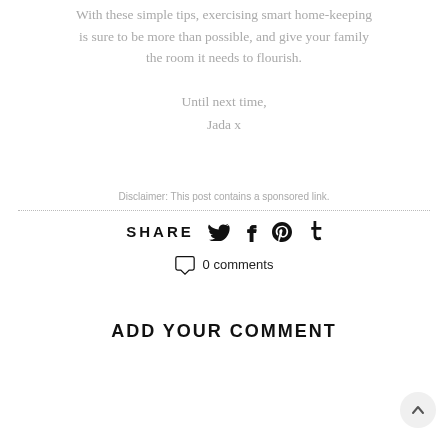With these simple tips, exercising smart home-keeping is sure to be more than possible, and give your family the room it needs to flourish.
Until next time,
Jada x
Disclaimer: This post contains a sponsored link.
SHARE
0 comments
ADD YOUR COMMENT